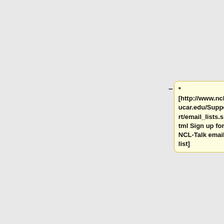– ucar.edu/Document/ NCL documentation]
* [http://www.ncl.ucar.edu/Support/email_lists.shtml Sign up for NCL-Talk email list]
* [[NCL_tools_for_GEOS-Chem|NCL4GC: NCL tools for GEOS-Chem]]
</td>
<td width="50%" valign="top">